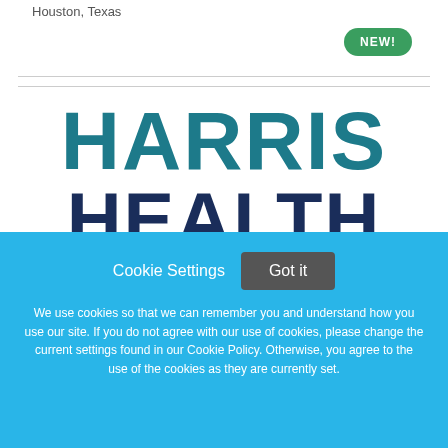Houston, Texas
[Figure (logo): Harris Health logo with 'HARRIS' in teal and 'HEALTH' in dark navy blue bold text]
NEW!
Cookie Settings
Got it
We use cookies so that we can remember you and understand how you use our site. If you do not agree with our use of cookies, please change the current settings found in our Cookie Policy. Otherwise, you agree to the use of the cookies as they are currently set.